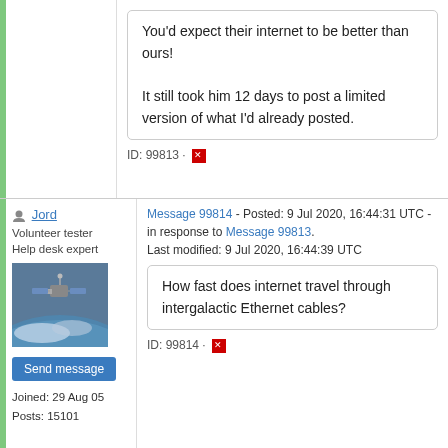You'd expect their internet to be better than ours!

It still took him 12 days to post a limited version of what I'd already posted.
ID: 99813 · [flag]
Jord
Volunteer tester
Help desk expert
[Figure (photo): Satellite or spacecraft floating above Earth]
Send message
Joined: 29 Aug 05
Posts: 15101
Message 99814 - Posted: 9 Jul 2020, 16:44:31 UTC - in response to Message 99813.
Last modified: 9 Jul 2020, 16:44:39 UTC
How fast does internet travel through intergalactic Ethernet cables?
ID: 99814 · [flag]